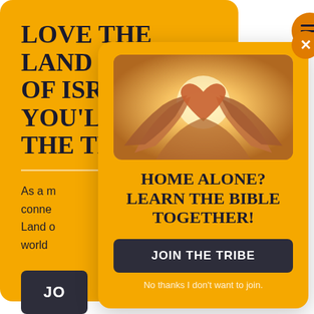LOVE THE LAND OF ISRAEL? YOU'LL LOVE THE TRIBE
As a m... conne... Land o... world...
JO
[Figure (illustration): Popup modal with hands making heart shapes, title 'HOME ALONE? LEARN THE BIBLE TOGETHER!' and a 'JOIN THE TRIBE' button]
HOME ALONE? LEARN THE BIBLE TOGETHER!
JOIN THE TRIBE
No thanks I don't want to join.